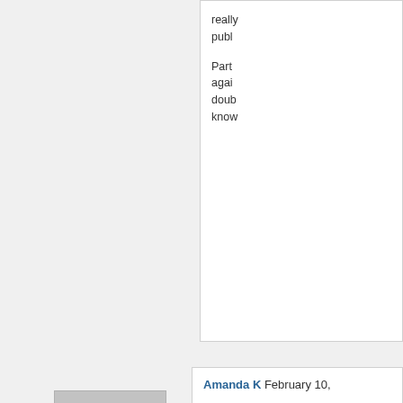really publicly
Part again doub know
[Figure (illustration): Generic user avatar placeholder image — grey background with white silhouette of a person]
Amanda K February 10, And here is what is so witnessed (rather than open" as if that was pa doors then we disregar continue to go on. I kn never find any proofs o Eagle Springs for near impossible. Generally p people cannot underst these ladies are saying I pray that you won't be